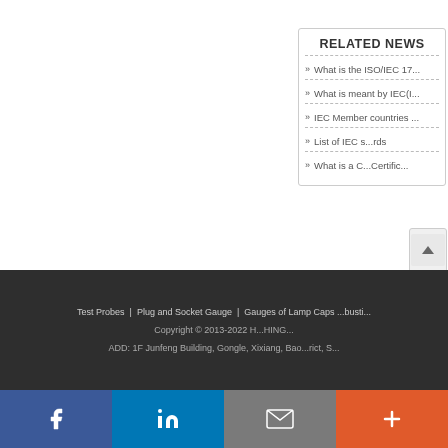RELATED NEWS
What is the ISO/IEC 17...
What is meant by IEC(I...
IEC Member countries...
List of IEC s...rds
What is a C...Certific...
Test Probes | Plug and Socket Gauge | Gauges of Lamp Caps...busti...
Copyright © 2013-2022 H...HING...
ADD: 1F Junfeng Building, Gongle, Xixiang, Bao...rict, S...